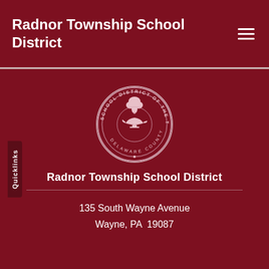Radnor Township School District
[Figure (logo): Circular seal of the School District of the Township of Radnor PA, Delaware County, featuring a lamp of knowledge with a tree above]
Radnor Township School District
135 South Wayne Avenue
Wayne, PA  19087